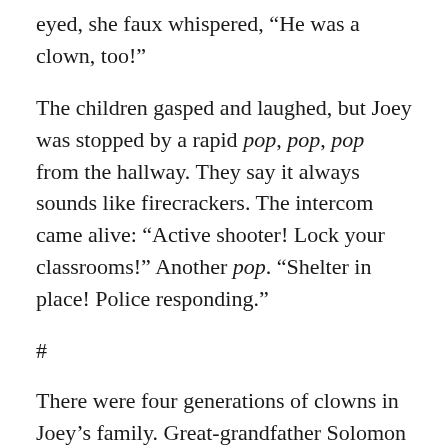eyed, she faux whispered, “He was a clown, too!”
The children gasped and laughed, but Joey was stopped by a rapid pop, pop, pop from the hallway. They say it always sounds like firecrackers. The intercom came alive: “Active shooter! Lock your classrooms!” Another pop. “Shelter in place! Police responding.”
#
There were four generations of clowns in Joey’s family. Great-grandfather Solomon performed for Franklin Roosevelt, visiting Kansas when families in tattered Depression clothes were little better dressed than the hobo Sol played at small-town railroad stations. Two decades later, Grandpa Mick became a hit in early television when clowns and